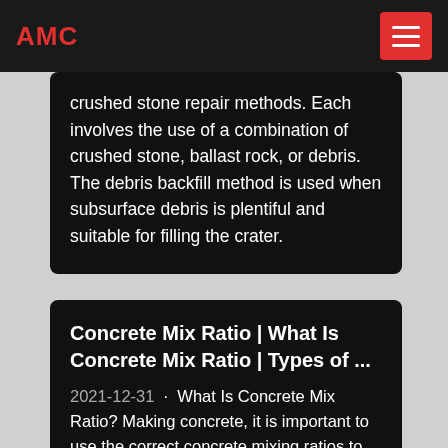AMC
crushed stone repair methods. Each involves the use of a combination of crushed stone, ballast rock, or debris. The debris backfill method is used when subsurface debris is plentiful and suitable for filling the crater.
Concrete Mix Ratio | What Is Concrete Mix Ratio | Types of ...
2021-12-31 · What Is Concrete Mix Ratio? Making concrete, it is important to use the correct concrete mixing ratios to produce a tough, long life, durable concrete mix. To make concrete, four basic materials you need: Cement,